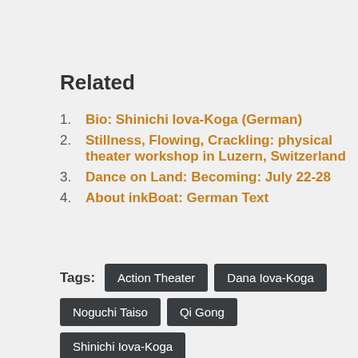Related
Bio: Shinichi Iova-Koga (German)
Stillness, Flowing, Crackling: physical theater workshop in Luzern, Switzerland
Dance on Land: Becoming: July 22-28
About inkBoat: German Text
Tags: Action Theater  Dana Iova-Koga  Noguchi Taiso  Qi Gong  Shinichi Iova-Koga